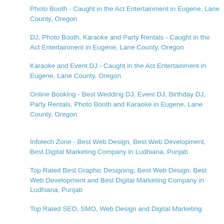Photo Booth - Caught in the Act Entertainment in Eugene, Lane County, Oregon
DJ, Photo Booth, Karaoke and Party Rentals - Caught in the Act Entertainment in Eugene, Lane County, Oregon
Karaoke and Event DJ - Caught in the Act Entertainment in Eugene, Lane County, Oregon
Online Booking - Best Wedding DJ, Event DJ, Birthday DJ, Party Rentals, Photo Booth and Karaoke in Eugene, Lane County, Oregon
Infotech Zone - Best Web Design, Best Web Development, Best Digital Marketing Company in Ludhiana, Punjab
Top Rated Best Graphic Designing, Best Web Design, Best Web Development and Best Digital Marketing Company in Ludhiana, Punjab
Top Rated SEO, SMO, Web Design and Digital Marketing